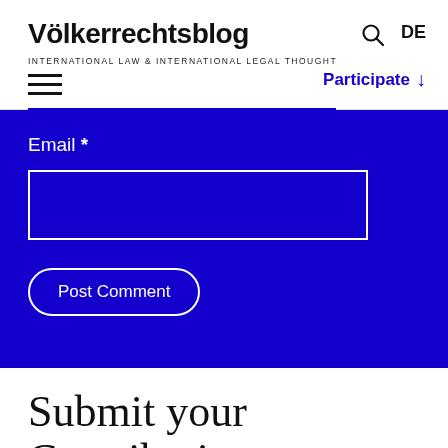Völkerrechtsblog INTERNATIONAL LAW & INTERNATIONAL LEGAL THOUGHT DE Participate
Email *
Post Comment
Submit your Contribution